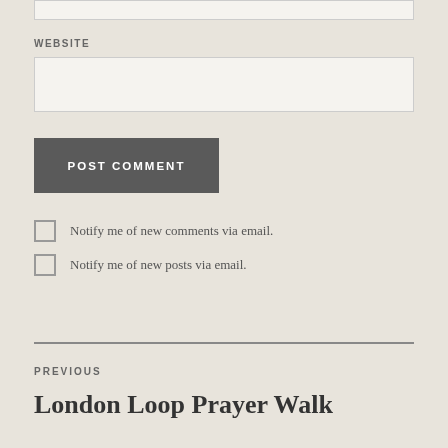WEBSITE
POST COMMENT
Notify me of new comments via email.
Notify me of new posts via email.
PREVIOUS
London Loop Prayer Walk